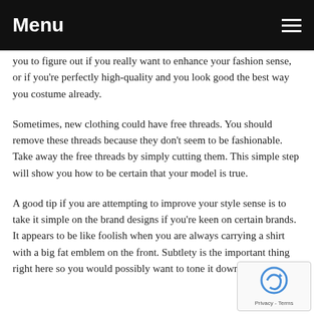Menu
you to figure out if you really want to enhance your fashion sense, or if you're perfectly high-quality and you look good the best way you costume already.
Sometimes, new clothing could have free threads. You should remove these threads because they don't seem to be fashionable. Take away the free threads by simply cutting them. This simple step will show you how to be certain that your model is true.
A good tip if you are attempting to improve your style sense is to take it simple on the brand designs if you're keen on certain brands. It appears to be like foolish when you are always carrying a shirt with a big fat emblem on the front. Subtlety is the important thing right here so you would possibly want to tone it down